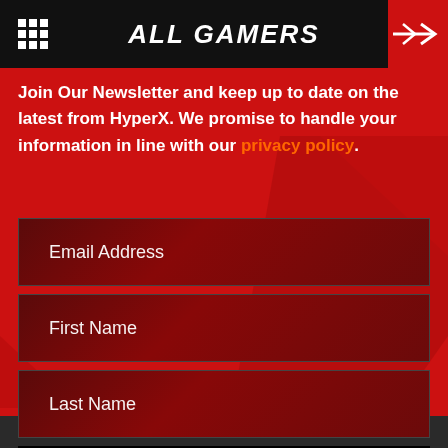ALL GAMERS
Join Our Newsletter and keep up to date on the latest from HyperX. We promise to handle your information in line with our privacy policy.
Email Address
First Name
Last Name
Subscribe